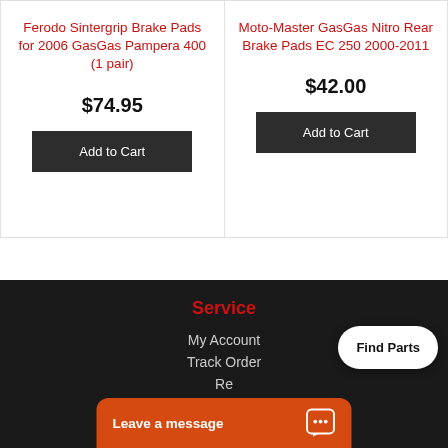Ferodo Sintergrip Brake Pads for 2006 GasGas Pampera 400 (1 pair)
$74.95
Add to Cart
Moto-Master GasGas Nitro Rear Brake Pads EC 250 2000-2011
$42.00
Add to Cart
Service
My Account
Track Order
Re...
Re...
Find Parts
Leave a message